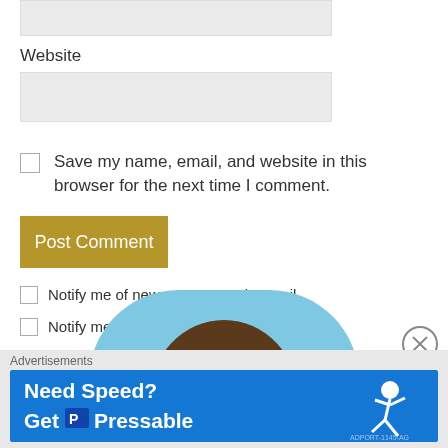Website
Save my name, email, and website in this browser for the next time I comment.
Post Comment
Notify me of new comments via email.
Notify me of new posts via email.
[Figure (photo): Circular avatar area with blue background and dark brown hair visible at the top, partially cropped]
Advertisements
[Figure (infographic): Pressable advertisement banner: 'Need Speed? Get Pressable' on blue background with running figure]